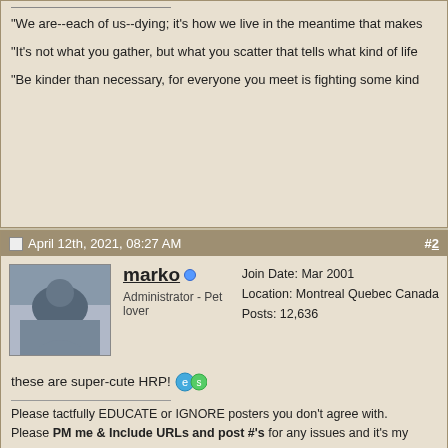"We are--each of us--dying; it's how we live in the meantime that makes
"It's not what you gather, but what you scatter that tells what kind of life
"Be kinder than necessary, for everyone you meet is fighting some kind
April 12th, 2021, 08:27 AM  #2
marko  Administrator - Pet lover  Join Date: Mar 2001  Location: Montreal Quebec Canada  Posts: 12,636
these are super-cute HRP!
Please tactfully EDUCATE or IGNORE posters you don't agree with.
Please PM me & Include URLs and post #'s for any issues and it's my pleasure to help.
I'm firm - but fair. Mind the Rules and enjoy your stay.
Newcomers FAQ - How do I post on this BB?
Pet facebook group
Check out the Pet podcast
Follow me on Twitter